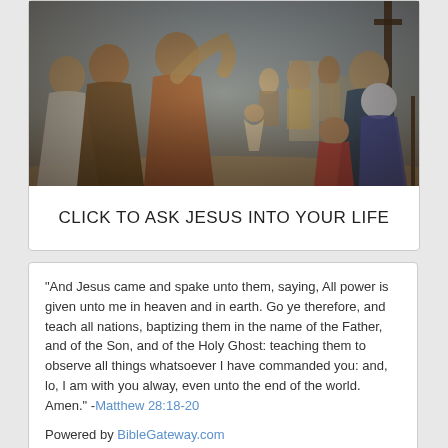[Figure (illustration): A painting depicting a biblical scene with robed figures gathered together, appearing to show Jesus among a crowd of people in an ancient Middle Eastern setting.]
CLICK TO ASK JESUS INTO YOUR LIFE
“And Jesus came and spake unto them, saying, All power is given unto me in heaven and in earth. Go ye therefore, and teach all nations, baptizing them in the name of the Father, and of the Son, and of the Holy Ghost: teaching them to observe all things whatsoever I have commanded you: and, lo, I am with you alway, even unto the end of the world. Amen.” -Matthew 28:18-20
Powered by BibleGateway.com